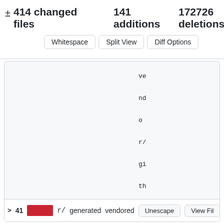± 414 changed files   141 additions   172726 deletions
Whitespace   Split View   Diff Options
vendor/github.com/derekparker/de...
> 41  [red block]  r/  generated  vendored  Unescape  View Fil...